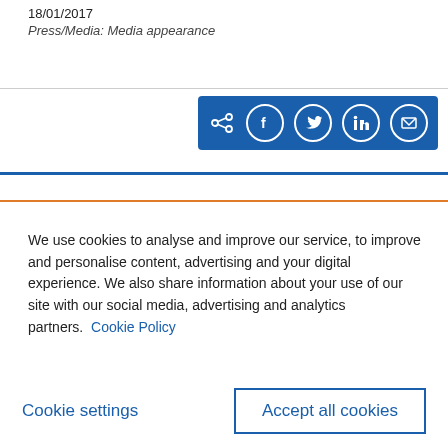18/01/2017
Press/Media: Media appearance
[Figure (infographic): Social media share bar with icons for share, Facebook, Twitter, LinkedIn, and email on a blue background]
We use cookies to analyse and improve our service, to improve and personalise content, advertising and your digital experience. We also share information about your use of our site with our social media, advertising and analytics partners.  Cookie Policy
Cookie settings
Accept all cookies